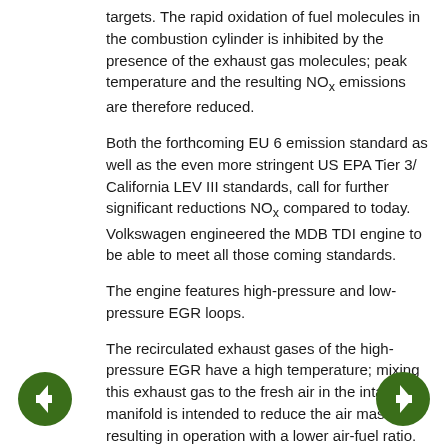targets. The rapid oxidation of fuel molecules in the combustion cylinder is inhibited by the presence of the exhaust gas molecules; peak temperature and the resulting NOx emissions are therefore reduced.
Both the forthcoming EU 6 emission standard as well as the even more stringent US EPA Tier 3/ California LEV III standards, call for further significant reductions NOx compared to today. Volkswagen engineered the MDB TDI engine to be able to meet all those coming standards.
The engine features high-pressure and low-pressure EGR loops.
The recirculated exhaust gases of the high-pressure EGR have a high temperature; mixing this exhaust gas to the fresh air in the intake manifold is intended to reduce the air mass, resulting in operation with a lower air-fuel ratio. Also, the average temperature of the fresh charge increases. HP-EGR is used to address dynamic and cold start issues.